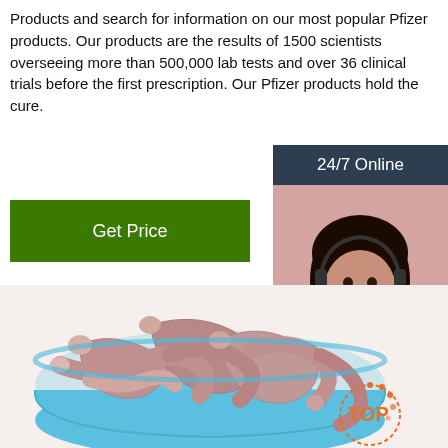Products and search for information on our most popular Pfizer products. Our products are the results of 1500 scientists overseeing more than 500,000 lab tests and over 36 clinical trials before the first prescription. Our Pfizer products hold the cure.
[Figure (other): Green 'Get Price' button]
[Figure (other): Sidebar with '24/7 Online' header, photo of woman with headset, 'Click here for free chat!' text, and orange 'QUOTATION' button]
[Figure (photo): Blue bowl filled with pink/mauve worm-like objects on a white background, with a 'TOP' logo in the lower right corner]